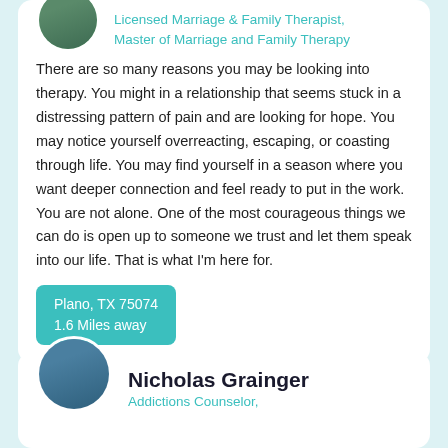Licensed Marriage & Family Therapist, Master of Marriage and Family Therapy
There are so many reasons you may be looking into therapy. You might in a relationship that seems stuck in a distressing pattern of pain and are looking for hope. You may notice yourself overreacting, escaping, or coasting through life. You may find yourself in a season where you want deeper connection and feel ready to put in the work. You are not alone. One of the most courageous things we can do is open up to someone we trust and let them speak into our life. That is what I'm here for.
Plano, TX 75074
1.6 Miles away
Nicholas Grainger
Addictions Counselor,